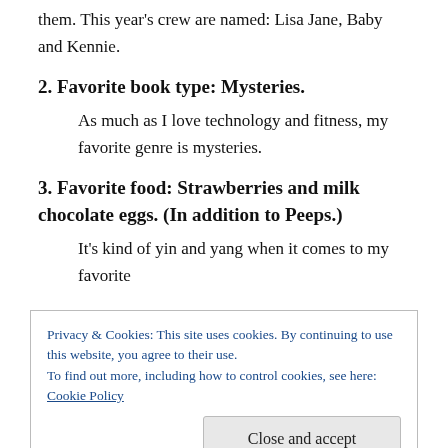them. This year’s crew are named: Lisa Jane, Baby and Kennie.
2. Favorite book type: Mysteries.
As much as I love technology and fitness, my favorite genre is mysteries.
3. Favorite food: Strawberries and milk chocolate eggs. (In addition to Peeps.)
It’s kind of yin and yang when it comes to my favorite
Privacy & Cookies: This site uses cookies. By continuing to use this website, you agree to their use.
To find out more, including how to control cookies, see here: Cookie Policy
chocolate any day!